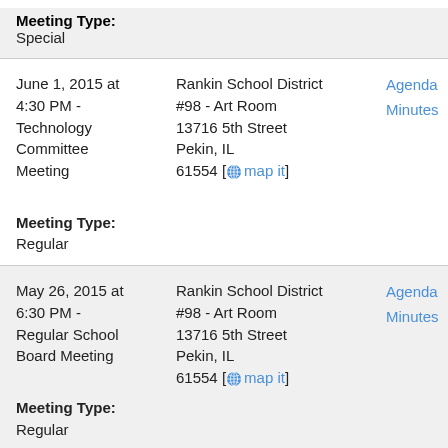Meeting Type: Special
June 1, 2015 at 4:30 PM - Technology Committee Meeting
Rankin School District #98 - Art Room
13716 5th Street
Pekin, IL
61554 [map it]
Agenda
Minutes
Meeting Type: Regular
May 26, 2015 at 6:30 PM - Regular School Board Meeting
Rankin School District #98 - Art Room
13716 5th Street
Pekin, IL
61554 [map it]
Agenda
Minutes
Meeting Type: Regular
May 21, 2015 at ... Rankin School District ... Agenda